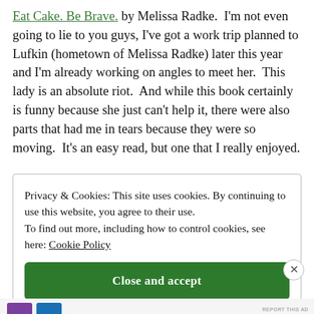Eat Cake. Be Brave. by Melissa Radke. I'm not even going to lie to you guys, I've got a work trip planned to Lufkin (hometown of Melissa Radke) later this year and I'm already working on angles to meet her. This lady is an absolute riot. And while this book certainly is funny because she just can't help it, there were also parts that had me in tears because they were so moving. It's an easy read, but one that I really enjoyed.
Privacy & Cookies: This site uses cookies. By continuing to use this website, you agree to their use.
To find out more, including how to control cookies, see here: Cookie Policy

[Close and accept]